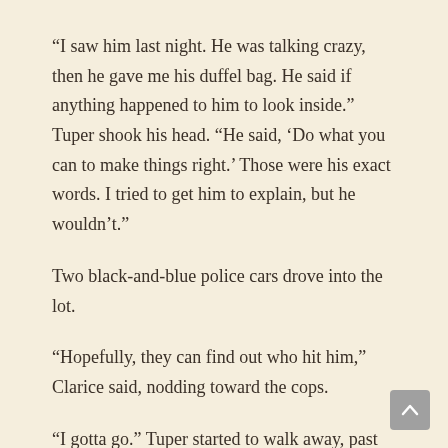“I saw him last night. He was talking crazy, then he gave me his duffel bag. He said if anything happened to him to look inside.” Tuper shook his head. “He said, ‘Do what you can to make things right.’ Those were his exact words. I tried to get him to explain, but he wouldn’t.”
Two black-and-blue police cars drove into the lot.
“Hopefully, they can find out who hit him,” Clarice said, nodding toward the cops.
“I gotta go.” Tuper started to walk away, past the small crowd of gawkers. A few had gone back inside or stood under the awning